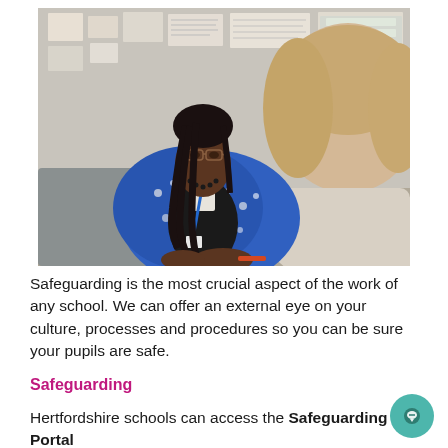[Figure (photo): A woman with braids and glasses wearing a blue patterned jacket and lanyard, sitting across from a blonde woman in a meeting or consultation setting. Papers and notices are pinned to a wall in the background.]
Safeguarding is the most crucial aspect of the work of any school. We can offer an external eye on your culture, processes and procedures so you can be sure your pupils are safe.
Safeguarding
Hertfordshire schools can access the Safeguarding Portal